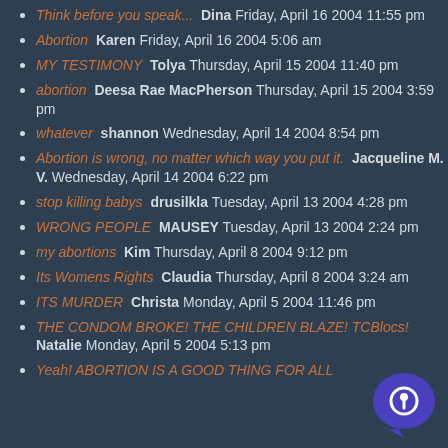Think before you speak...  Dina Friday, April 16 2004 11:55 pm
Abortion  Karen Friday, April 16 2004 5:06 am
MY TESTIMONY  Tolya Thursday, April 15 2004 11:40 pm
abortion  Deesa Rae MacPherson Thursday, April 15 2004 3:59 pm
whatever  shannon Wednesday, April 14 2004 8:54 pm
Abortion is wrong, no matter which way you put it.  Jacqueline M. V. Wednesday, April 14 2004 6:22 pm
stop killing babys  drusilkla Tuesday, April 13 2004 4:28 pm
WRONG PEOPLE  MAUSEY Tuesday, April 13 2004 2:24 pm
my abortions  Kim Thursday, April 8 2004 9:12 pm
Its Womens Rights  Claudia Thursday, April 8 2004 3:24 am
ITS MURDER  Christa Monday, April 5 2004 11:46 pm
THE CONDOM BROKE! THE CHILDREN BLAZE! TCBlocs!  Natalie Monday, April 5 2004 5:13 pm
Yeah! ABORTION IS A GOOD THING FOR ALL